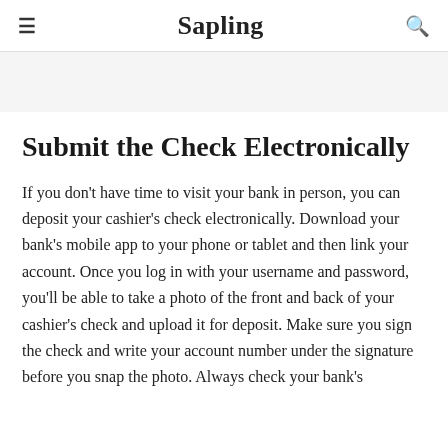≡  Sapling  🔍
Submit the Check Electronically
If you don't have time to visit your bank in person, you can deposit your cashier's check electronically. Download your bank's mobile app to your phone or tablet and then link your account. Once you log in with your username and password, you'll be able to take a photo of the front and back of your cashier's check and upload it for deposit. Make sure you sign the check and write your account number under the signature before you snap the photo. Always check your bank's